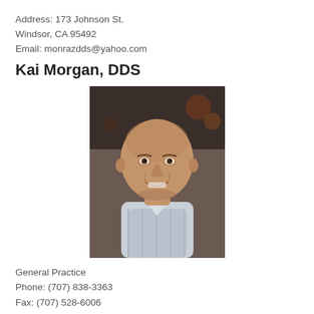Address: 173 Johnson St.
Windsor, CA 95492
Email: monrazdds@yahoo.com
Kai Morgan, DDS
[Figure (photo): Headshot photo of Kai Morgan, DDS — a bald man in a light blue checkered shirt, smiling, photographed indoors]
General Practice
Phone: (707) 838-3363
Fax: (707) 528-6006
Address: 9025 Old Redwood Hwy. Ste A
Windsor, CA 95492